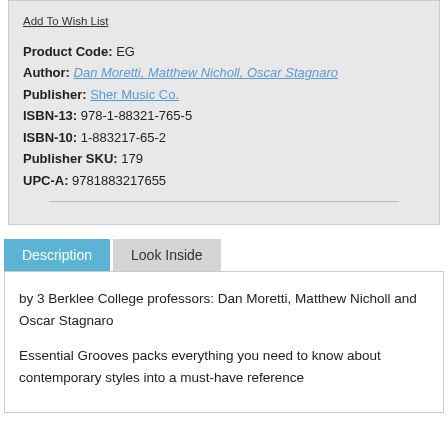Add To Wish List
Product Code: EG
Author: Dan Moretti, Matthew Nicholl, Oscar Stagnaro
Publisher: Sher Music Co.
ISBN-13: 978-1-88321-765-5
ISBN-10: 1-883217-65-2
Publisher SKU: 179
UPC-A: 9781883217655
Description
Look Inside
by 3 Berklee College professors: Dan Moretti, Matthew Nicholl and Oscar Stagnaro
Essential Grooves packs everything you need to know about contemporary styles into a must-have reference